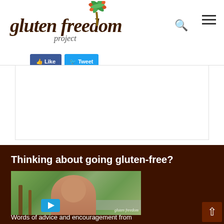[Figure (logo): Gluten Freedom Project logo with palm tree icon, script font text in dark brown]
[Figure (screenshot): Social media share buttons: blue Facebook-style button and blue Tweet button]
[Figure (photo): White content area / advertisement block]
Thinking about going gluten-free?
[Figure (screenshot): Video thumbnail showing a young woman outdoors with trees in background, play button overlay, and 'gluten freedom' watermark text]
Words of advice and encouragement from